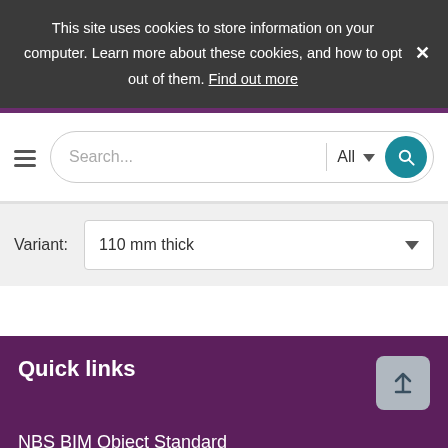This site uses cookies to store information on your computer. Learn more about these cookies, and how to opt out of them. Find out more
[Figure (screenshot): Search bar with hamburger menu, text input placeholder 'Search...', 'All' dropdown, and teal search button]
Variant: 110 mm thick
Quick links
NBS BIM Object Standard